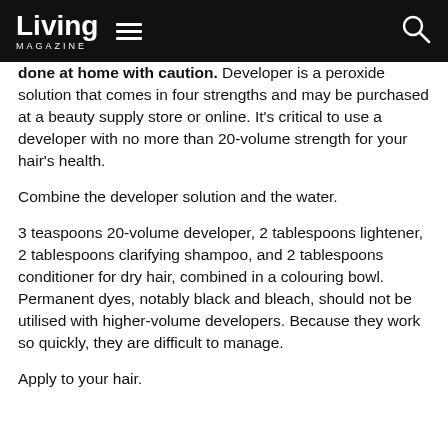Living MAGAZINE
done at home with caution. Developer is a peroxide solution that comes in four strengths and may be purchased at a beauty supply store or online. It's critical to use a developer with no more than 20-volume strength for your hair's health.
Combine the developer solution and the water.
3 teaspoons 20-volume developer, 2 tablespoons lightener, 2 tablespoons clarifying shampoo, and 2 tablespoons conditioner for dry hair, combined in a colouring bowl. Permanent dyes, notably black and bleach, should not be utilised with higher-volume developers. Because they work so quickly, they are difficult to manage.
Apply to your hair.